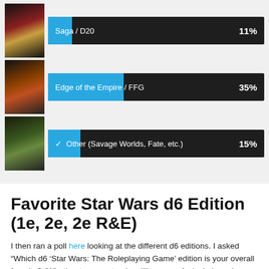[Figure (bar-chart): Poll results - RPG systems]
Favorite Star Wars d6 Edition (1e, 2e, 2e R&E)
I then ran a poll here looking at the different d6 editions. I asked “Which d6 ‘Star Wars: The Roleplaying Game’ edition is your overall favorite? (Whether to run or to play; I’ll assume 1e includes rules errata or retroclones, and 2e Revised and Expanded includes REUP).” The population I polled was the Star Wars d6 Google+